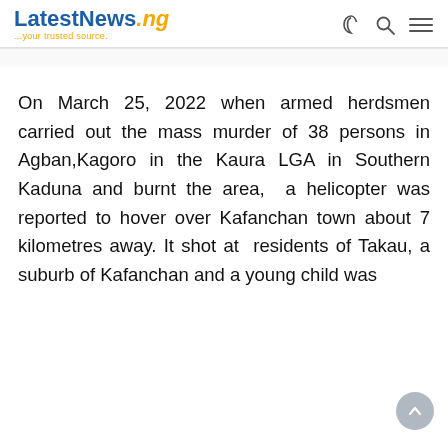LatestNews.ng ...your trusted source.
On March 25, 2022 when armed herdsmen carried out the mass murder of 38 persons in Agban,Kagoro in the Kaura LGA in Southern Kaduna and burnt the area,  a helicopter was reported to hover over Kafanchan town about 7 kilometres away. It shot at  residents of Takau, a suburb of Kafanchan and a young child was